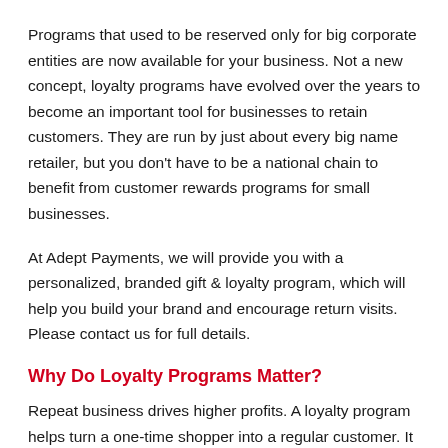Programs that used to be reserved only for big corporate entities are now available for your business. Not a new concept, loyalty programs have evolved over the years to become an important tool for businesses to retain customers. They are run by just about every big name retailer, but you don't have to be a national chain to benefit from customer rewards programs for small businesses.
At Adept Payments, we will provide you with a personalized, branded gift & loyalty program, which will help you build your brand and encourage return visits. Please contact us for full details.
Why Do Loyalty Programs Matter?
Repeat business drives higher profits. A loyalty program helps turn a one-time shopper into a regular customer. It can include various types of rewards to encourage shoppers to return. Every rewards program is unique (and can be tailored to your brand) but built on the same principles, the most time-proven, and proven things t...